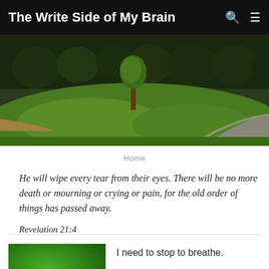The Write Side of My Brain
[Figure (photo): Aerial or elevated view of a green park or landscape with trees in the background and a path/road curving through the scene.]
Home
He will wipe every tear from their eyes. There will be no more death or mourning or crying or pain, for the old order of things has passed away.

Revelation 21:4
[Figure (photo): Green themed thumbnail image with the number 23 in white text.]
I need to stop to breathe.